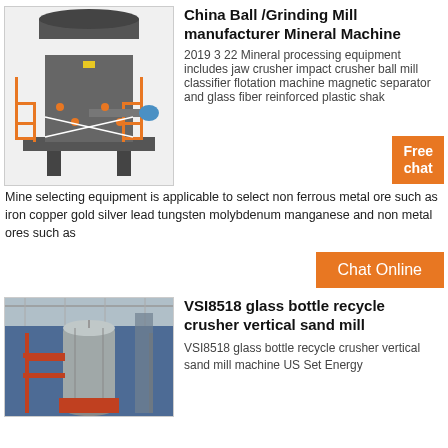[Figure (photo): Industrial ball/grinding mill machine with orange safety railings and mechanical components on a white background]
China Ball /Grinding Mill manufacturer Mineral Machine
2019 3 22 Mineral processing equipment includes jaw crusher impact crusher ball mill classifier flotation machine magnetic separator and glass fiber reinforced plastic shak
Mine selecting equipment is applicable to select non ferrous metal ore such as iron copper gold silver lead tungsten molybdenum manganese and non metal ores such as
[Figure (photo): Industrial vertical sand mill machine inside a factory building with blue walls and red/metal cylindrical equipment]
VSI8518 glass bottle recycle crusher vertical sand mill
VSI8518 glass bottle recycle crusher vertical sand mill machine US Set Energy